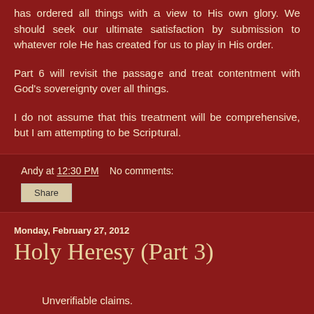has ordered all things with a view to His own glory. We should seek our ultimate satisfaction by submission to whatever role He has created for us to play in His order.
Part 6 will revisit the passage and treat contentment with God's sovereignty over all things.
I do not assume that this treatment will be comprehensive, but I am attempting to be Scriptural.
Andy at 12:30 PM    No comments:
Share
Monday, February 27, 2012
Holy Heresy (Part 3)
Unverifiable claims.